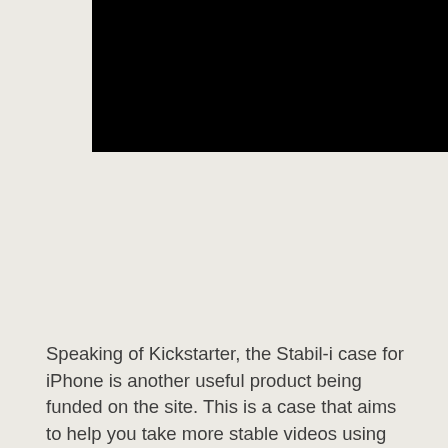[Figure (photo): Black rectangle representing an image placeholder or video frame]
Speaking of Kickstarter, the Stabil-i case for iPhone is another useful product being funded on the site. This is a case that aims to help you take more stable videos using